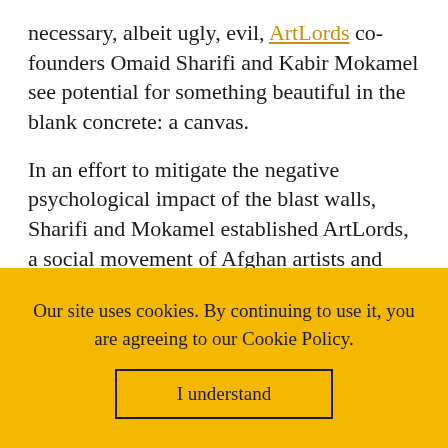necessary, albeit ugly, evil, ArtLords co-founders Omaid Sharifi and Kabir Mokamel see potential for something beautiful in the blank concrete: a canvas.
In an effort to mitigate the negative psychological impact of the blast walls, Sharifi and Mokamel established ArtLords, a social movement of Afghan artists and activists working to build a better Kabul through street art. Instead of blank concrete slabs, murals designed by ArtLords create a positive, uplifting visual experience for the people of Kabul,
Our site uses cookies. By continuing to use it, you are agreeing to our Cookie Policy.
I understand